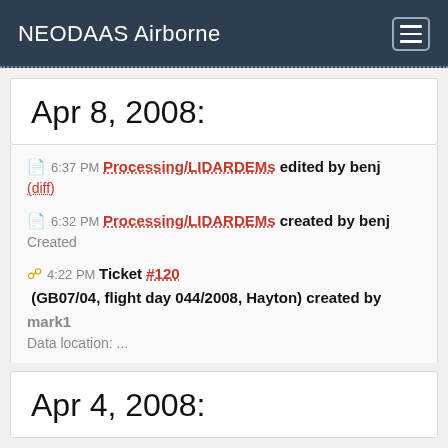NEODAAS Airborne
Apr 8, 2008:
6:37 PM Processing/LIDARDEMs edited by benj (diff)
6:32 PM Processing/LIDARDEMs created by benj
Created
4:22 PM Ticket #120 (GB07/04, flight day 044/2008, Hayton) created by mark1
Data location: ...
Apr 4, 2008: